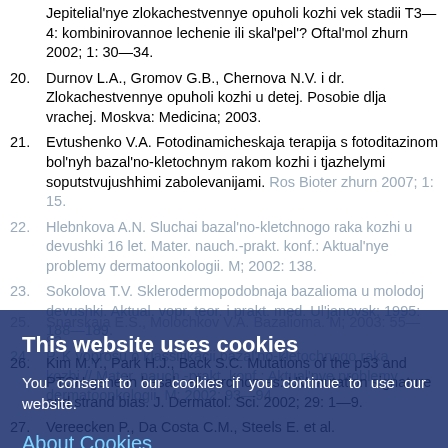Jepitelial'nye zlokachestvennye opuholi kozhi vek stadii T3—4: kombinirovannoe lechenie ili skal'pel'? Oftal'mol zhurn 2002; 1: 30—34.
20. Durnov L.A., Gromov G.B., Chernova N.V. i dr. Zlokachestvennye opuholi kozhi u detej. Posobie dlja vrachej. Moskva: Medicina; 2003.
21. Evtushenko V.A. Fotodinamicheskaja terapija s fotoditazinom bol'nyh bazal'no-kletochnym rakom kozhi i tjazhelymi soputstvujushhimi zabolevanijami. Ros Bioter zhurn 2007; 1: 15.
22. Hlebnkova A.N. Sluchai bazal'no-kletchnogo raka kozhi u devushki 16 let. Mater. nauch.-prakt. konf.: Aktual'nye problemy dermatoonkologii. M; 2002: 138.
23. Sokolova T.V. Sklerodermopodobnaja bazalioma u molodoj devushki. Aktual. vopr. teor. i prakt. med. Ul'janovsk; 1995: 188—189.
24. [author] P. K voprosu o klassifikacii bazal'no-kletochnogo raka kozhi. // Mater. nauch.-prakt. konf.: Aktual'nye problemy dermatoonkologii. M; 2002: 93—94.
25. Snarskaja E.S., Molochkov V.A. Bazalioma. M; 2003: 55—83.
26. Kim M.Y., Park H.J., Back S.C. Mutations of the p53 and PTCH gene in basal cell carcinomas: UV mutation signature and strand bias. J. Dermatol. Sci. 2002; 29: 1—9.
27. Vereecken P., Da Costa C.M., Steels E. et al.
[Figure (screenshot): Cookie consent overlay dialog with dark blue semi-transparent background. Contains title 'This website uses cookies', body text 'You consent to our cookies if you continue to use our website.', an 'About Cookies' link, and an 'OK' button.]